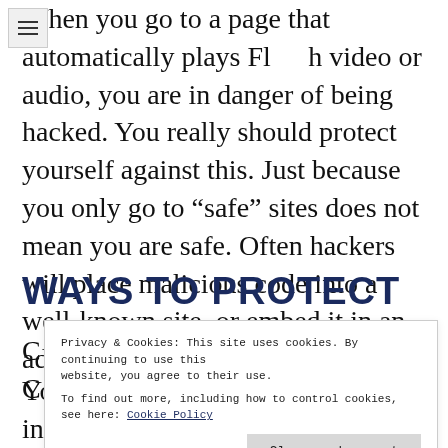When you go to a page that automatically plays Flash video or audio, you are in danger of being hacked. You really should protect yourself against this. Just because you only go to "safe" sites does not mean you are safe. Often hackers will place malicious code into a well-known site, or embed it in an ad or an iframe.
WAYS TO PROTECT
C
C
[Figure (screenshot): Cookie consent banner overlay. Text: 'Privacy & Cookies: This site uses cookies. By continuing to use this website, you agree to their use. To find out more, including how to control cookies, see here: Cookie Policy'. Button: 'Close and accept'.]
You may use many browser plug ins that will stop